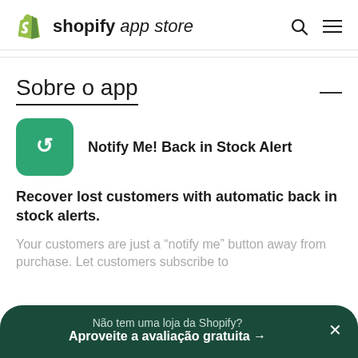shopify app store
Sobre o app
[Figure (logo): Notify Me! Back in Stock Alert app icon — green rounded square with white arrow/redo symbol]
Notify Me! Back in Stock Alert
Recover lost customers with automatic back in stock alerts.
Your customers are just a “notify me” button away from purchase. Let customers subscribe to
Não tem uma loja da Shopify? Aproveite a avaliação gratuita →